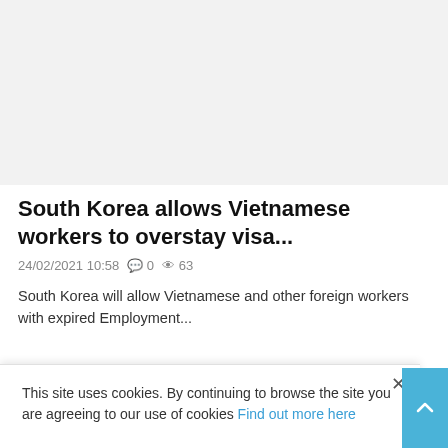[Figure (photo): Light grey placeholder image area at the top of the page]
South Korea allows Vietnamese workers to overstay visa...
24/02/2021 10:58  0  63
South Korea will allow Vietnamese and other foreign workers with expired Employment...
This site uses cookies. By continuing to browse the site you are agreeing to our use of cookies Find out more here